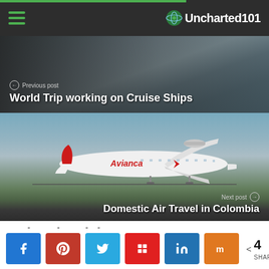Uncharted101
[Figure (photo): Previous post navigation block showing glacier/ocean background image with text 'Previous post' and title 'World Trip working on Cruise Ships']
[Figure (photo): Next post navigation block showing Avianca airplane on tarmac with text 'Next post' and title 'Domestic Air Travel in Colombia']
Related Articles
< 4 SHARES — Facebook, Pinterest, Twitter, Flipboard, LinkedIn, Mix share buttons